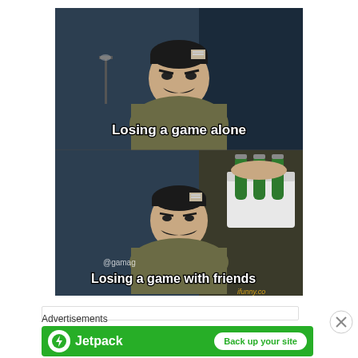[Figure (illustration): A two-panel meme featuring an animated muscular man with a mustache. Top panel: man looking stern with text 'Losing a game alone'. Bottom panel: same man holding a six-pack of beer bottles with text 'Losing a game with friends'. Watermark '@gamag' and 'ifunny.co' visible.]
Advertisements
[Figure (infographic): Jetpack advertisement banner on green background. Shows Jetpack logo (lightning bolt in circle) and text 'Jetpack' with a white button 'Back up your site'.]